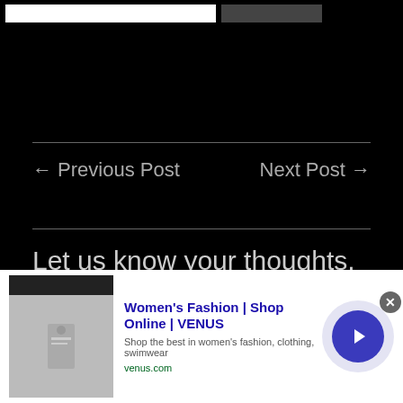[Figure (screenshot): Top bar with white input box and dark button on black background]
← Previous Post    Next Post →
Let us know your thoughts, Raider Nation!
Enter your comment here...
[Figure (screenshot): Advertisement banner: Women's Fashion | Shop Online | VENUS. Shop the best in women's fashion, clothing, swimwear. venus.com]